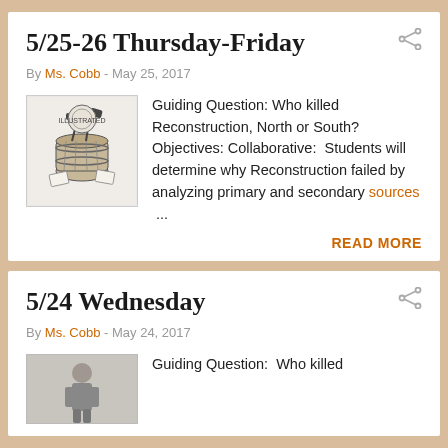5/25-26 Thursday-Friday
By Ms. Cobb - May 25, 2017
[Figure (illustration): Historical illustration of a barrel with tools and documents]
Guiding Question: Who killed Reconstruction, North or South? Objectives: Collaborative: Students will determine why Reconstruction failed by analyzing primary and secondary sources ...
READ MORE
5/24 Wednesday
By Ms. Cobb - May 24, 2017
[Figure (photo): Historical photograph (partially visible)]
Guiding Question: Who killed